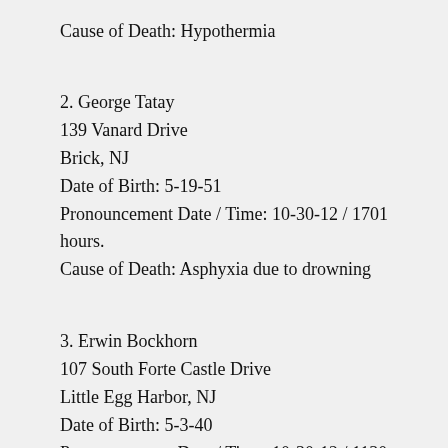Cause of Death: Hypothermia
2. George Tatay
139 Vanard Drive
Brick, NJ
Date of Birth: 5-19-51
Pronouncement Date / Time: 10-30-12 / 1701 hours.
Cause of Death: Asphyxia due to drowning
3. Erwin Bockhorn
107 South Forte Castle Drive
Little Egg Harbor, NJ
Date of Birth: 5-3-40
Pronouncement Date / Time: 10-30-12 / 1130 hours.